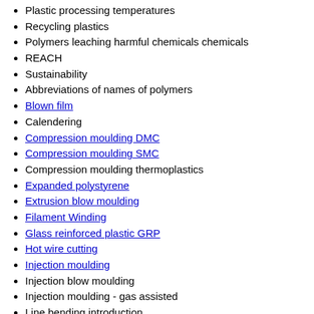Plastic processing temperatures
Recycling plastics
Polymers leaching harmful chemicals chemicals
REACH
Sustainability
Abbreviations of names of polymers
Blown film
Calendering
Compression moulding DMC
Compression moulding SMC
Compression moulding thermoplastics
Expanded polystyrene
Extrusion blow moulding
Filament Winding
Glass reinforced plastic GRP
Hot wire cutting
Injection moulding
Injection blow moulding
Injection moulding - gas assisted
Line bending introduction
line bending animation
line benders
jigs for line bending
plastics used for line bending
Plastic Memory
Plastic coating
Pultrusion process
Resin casting and encapsulation
Resin transfer moulding
Rotational moulding